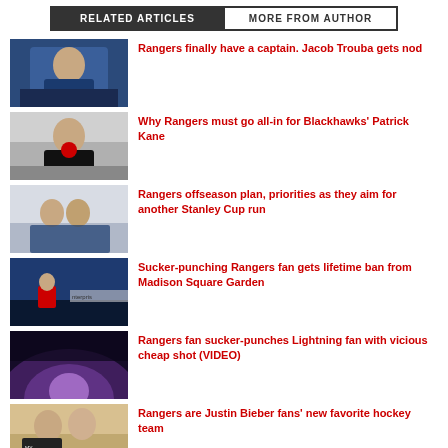RELATED ARTICLES | MORE FROM AUTHOR
[Figure (photo): Hockey player in blue Rangers uniform]
Rangers finally have a captain. Jacob Trouba gets nod
[Figure (photo): Hockey player in black Blackhawks uniform]
Why Rangers must go all-in for Blackhawks' Patrick Kane
[Figure (photo): Rangers players celebrating on ice]
Rangers offseason plan, priorities as they aim for another Stanley Cup run
[Figure (photo): Rangers team on ice with Enterprise banner]
Sucker-punching Rangers fan gets lifetime ban from Madison Square Garden
[Figure (photo): Madison Square Garden interior with purple lighting]
Rangers fan sucker-punches Lightning fan with vicious cheap shot (VIDEO)
[Figure (photo): Woman holding My Biebs sign]
Rangers are Justin Bieber fans' new favorite hockey team